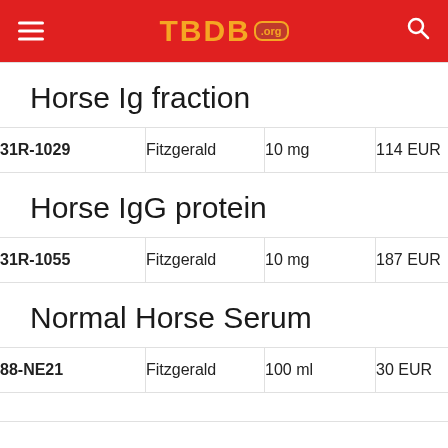TBDB.org
Horse Ig fraction
| ID | Supplier | Size | Price |
| --- | --- | --- | --- |
| 31R-1029 | Fitzgerald | 10 mg | 114 EUR |
Horse IgG protein
| ID | Supplier | Size | Price |
| --- | --- | --- | --- |
| 31R-1055 | Fitzgerald | 10 mg | 187 EUR |
Normal Horse Serum
| ID | Supplier | Size | Price |
| --- | --- | --- | --- |
| 88-NE21 | Fitzgerald | 100 ml | 30 EUR |